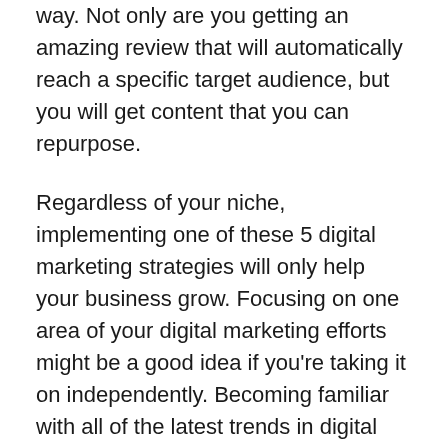way. Not only are you getting an amazing review that will automatically reach a specific target audience, but you will get content that you can repurpose.
Regardless of your niche, implementing one of these 5 digital marketing strategies will only help your business grow. Focusing on one area of your digital marketing efforts might be a good idea if you're taking it on independently. Becoming familiar with all of the latest trends in digital marketing is no easy task, and that's where we can help! We take away the learning curve and go straight into adapting next level marketing for your business. Ready to take your business further this fall? Give us a call at (252)